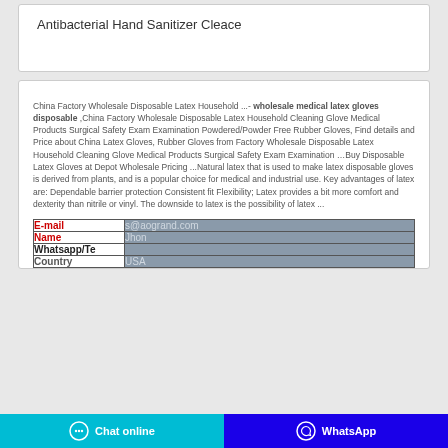Antibacterial Hand Sanitizer Cleace
China Factory Wholesale Disposable Latex Household ...- wholesale medical latex gloves disposable ,China Factory Wholesale Disposable Latex Household Cleaning Glove Medical Products Surgical Safety Exam Examination Powdered/Powder Free Rubber Gloves, Find details and Price about China Latex Gloves, Rubber Gloves from Factory Wholesale Disposable Latex Household Cleaning Glove Medical Products Surgical Safety Exam Examination …Buy Disposable Latex Gloves at Depot Wholesale Pricing ...Natural latex that is used to make latex disposable gloves is derived from plants, and is a popular choice for medical and industrial use. Key advantages of latex are: Dependable barrier protection Consistent fit Flexibility; Latex provides a bit more comfort and dexterity than nitrile or vinyl. The downside to latex is the possibility of latex ...
| E-mail | s@aogrand.com |
| --- | --- |
| Name | Jhon |
| Whatsapp/Te |  |
| Country | USA |
Chat online | WhatsApp